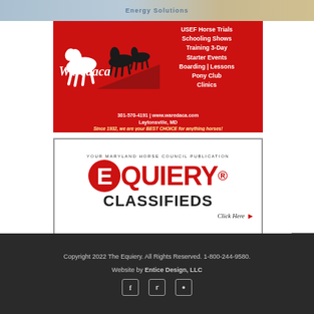[Figure (photo): Top strip showing partial advertisement with Energy Solutions text and background image]
[Figure (photo): Waredaca equestrian facility advertisement on red background with horse silhouettes and Waredaca script logo. Lists USEF Horse Trials, Schooling Shows, Training 3-Day, Starter Events, Boarding | Lessons, Pony Club, Clinics. Contact: 301-570-4191 | www.waredaca.com | Laytonsville, MD. Tagline: Since 1932, we are your BEST CHOICE for anything horses!]
[Figure (photo): Equiery Classifieds advertisement. Subtitle: YOUR MARYLAND HORSE COUNCIL PUBLICATION. Large red EQUIERY logo with Maryland crest in Q. CLASSIFIEDS in bold black. Click Here with red arrow.]
Copyright 2022 The Equiery. All Rights Reserved. 1-800-244-9580.
Website by Entice Design, LLC